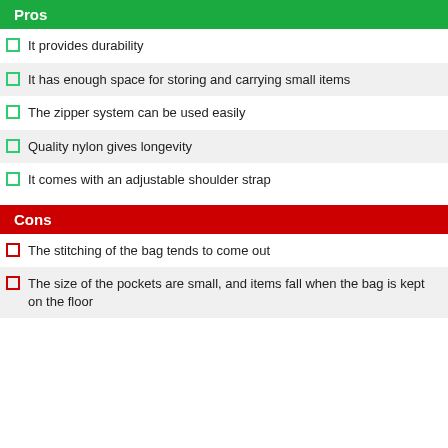Pros
It provides durability
It has enough space for storing and carrying small items
The zipper system can be used easily
Quality nylon gives longevity
It comes with an adjustable shoulder strap
Cons
The stitching of the bag tends to come out
The size of the pockets are small, and items fall when the bag is kept on the floor